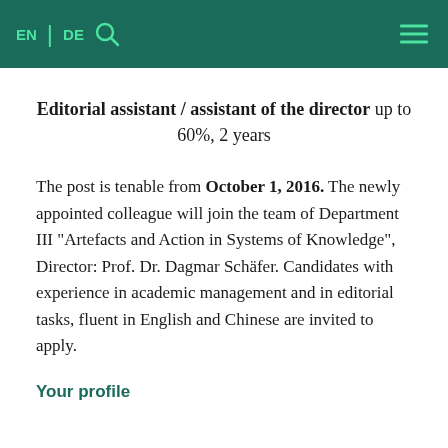EN | DE [search icon] [hamburger menu]
Editorial assistant / assistant of the director up to 60%, 2 years
The post is tenable from October 1, 2016. The newly appointed colleague will join the team of Department III "Artefacts and Action in Systems of Knowledge", Director: Prof. Dr. Dagmar Schäfer. Candidates with experience in academic management and in editorial tasks, fluent in English and Chinese are invited to apply.
Your profile